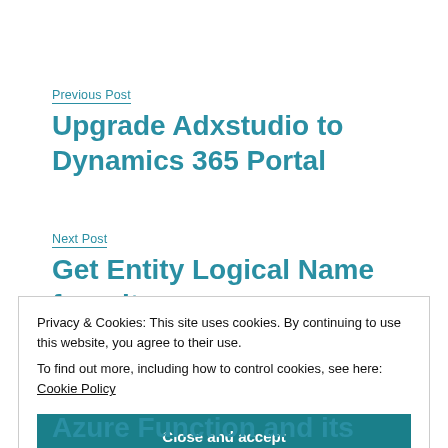Previous Post
Upgrade Adxstudio to Dynamics 365 Portal
Next Post
Get Entity Logical Name from its
Privacy & Cookies: This site uses cookies. By continuing to use this website, you agree to their use.
To find out more, including how to control cookies, see here: Cookie Policy
Close and accept
Azure Function and its Integration